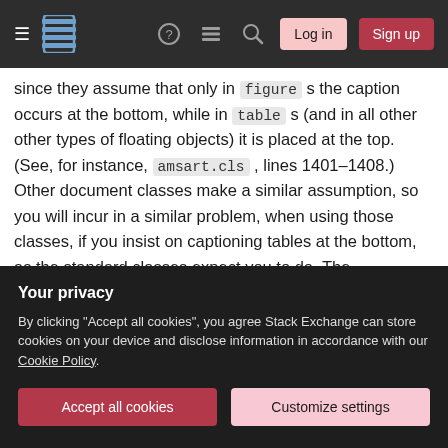Stack Exchange navigation bar with hamburger menu, logo, help, chat, search icons, Log in and Sign up buttons
since they assume that only in figure s the caption occurs at the bottom, while in table s (and in all other other types of floating objects) it is placed at the top. (See, for instance, amsart.cls , lines 1401–1408.) Other document classes make a similar assumption, so you will incur in a similar problem, when using those classes, if you insist on captioning tables at the bottom, as the standard classes expect you to do. The llncs_class is one of them (see llncs.cls , l. 789–799 and l. 811–820). We choose to demonstrate only the behavior of
Your privacy
By clicking "Accept all cookies", you agree Stack Exchange can store cookies on your device and disclose information in accordance with our Cookie Policy.
Accept all cookies   Customize settings